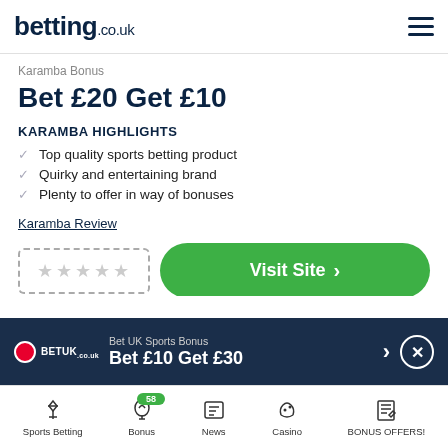betting.co.uk
Karamba Bonus
Bet £20 Get £10
KARAMBA HIGHLIGHTS
Top quality sports betting product
Quirky and entertaining brand
Plenty to offer in way of bonuses
Karamba Review
★★★★★  Visit Site >
T&Cs apply. 18+
Bet UK Sports Bonus  Bet £10 Get £30
Sports Betting  Bonus 58  News  Casino  BONUS OFFERS!